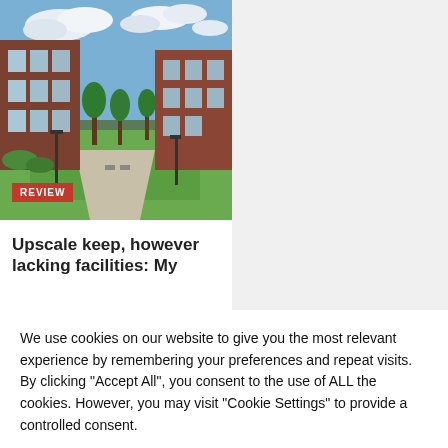[Figure (photo): Outdoor courtyard of an upscale apartment building with brick facades, green lawn, walkways, trees, and outdoor seating under a cloudy blue sky. A red 'REVIEW' badge is overlaid at the bottom-left of the image.]
Upscale keep, however lacking facilities: My
We use cookies on our website to give you the most relevant experience by remembering your preferences and repeat visits. By clicking “Accept All”, you consent to the use of ALL the cookies. However, you may visit "Cookie Settings" to provide a controlled consent.
Cookie Settings | Accept All